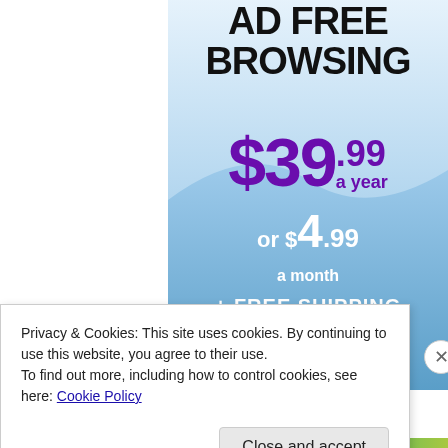[Figure (infographic): Advertisement banner with light blue gradient background showing pricing for an ad-free browsing subscription: $39.99 a year or $4.99 a month plus free shipping]
BROWSING
$39.99 a year
or $4.99 a month
+ FREE SHIPPING
Privacy & Cookies: This site uses cookies. By continuing to use this website, you agree to their use.
To find out more, including how to control cookies, see here: Cookie Policy